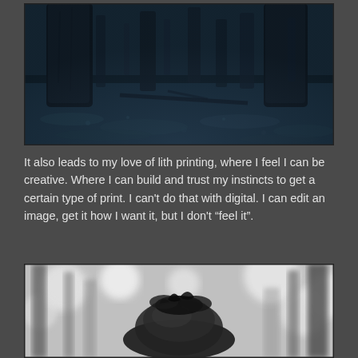[Figure (photo): Blue-tinted black and white photograph of a dark forest floor with large tree trunks, fallen branches and leaves covering the ground]
It also leads to my love of lith printing, where I feel I can be creative. Where I can build and trust my instincts to get a certain type of print. I can't do that with digital. I can edit an image, get it how I want it, but I don't “feel it”.
[Figure (photo): Black and white blurry photograph of a forest with a tree stump or rock formation in the foreground, bokeh background]